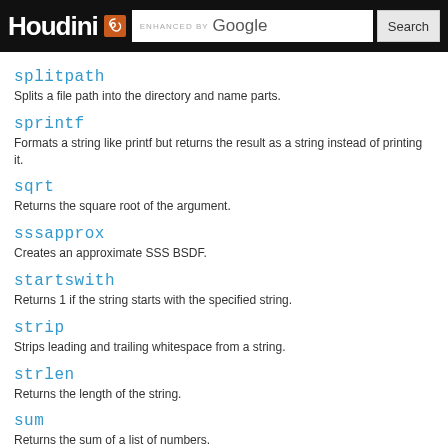Houdini — ENHANCED BY Google [Search bar]
splitpath
Splits a file path into the directory and name parts.
sprintf
Formats a string like printf but returns the result as a string instead of printing it.
sqrt
Returns the square root of the argument.
sssapprox
Creates an approximate SSS BSDF.
startswith
Returns 1 if the string starts with the specified string.
strip
Strips leading and trailing whitespace from a string.
strlen
Returns the length of the string.
sum
Returns the sum of a list of numbers.
surfacedist